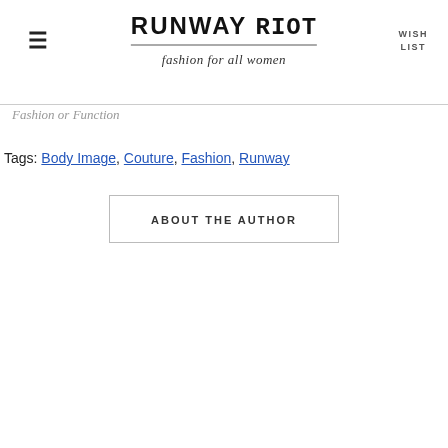RUNWAY RIOT — fashion for all women | WISH LIST
Fashion or Function
Tags: Body Image, Couture, Fashion, Runway
ABOUT THE AUTHOR